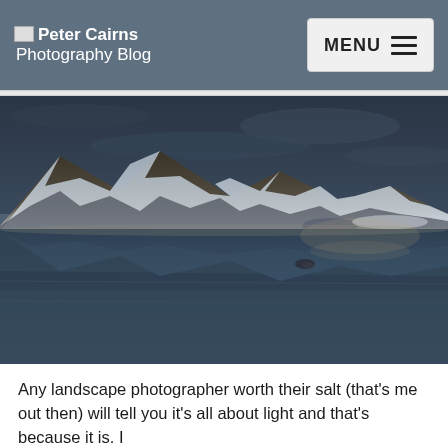Peter Cairns Photography Blog | MENU
[Figure (photo): Landscape photography of snow-capped mountains reflected in calm, still coastal water at twilight/dusk. Blue tones dominate with a pale glow near the horizon.]
Any landscape photographer worth their salt (that's me out then) will tell you it's all about light and that's because it is. I